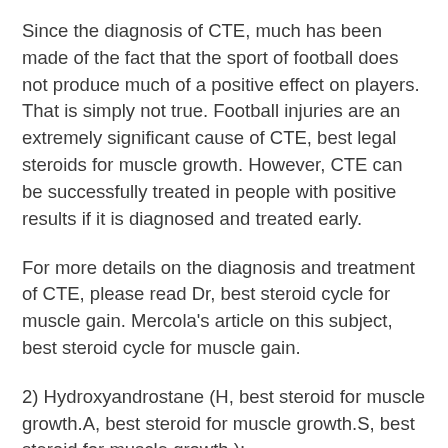Since the diagnosis of CTE, much has been made of the fact that the sport of football does not produce much of a positive effect on players. That is simply not true. Football injuries are an extremely significant cause of CTE, best legal steroids for muscle growth. However, CTE can be successfully treated in people with positive results if it is diagnosed and treated early.
For more details on the diagnosis and treatment of CTE, please read Dr, best steroid cycle for muscle gain. Mercola's article on this subject, best steroid cycle for muscle gain.
2) Hydroxyandrostane (H, best steroid for muscle growth.A, best steroid for muscle growth.S, best steroid for muscle growth.):
Hydroxyandrostane is one of the other